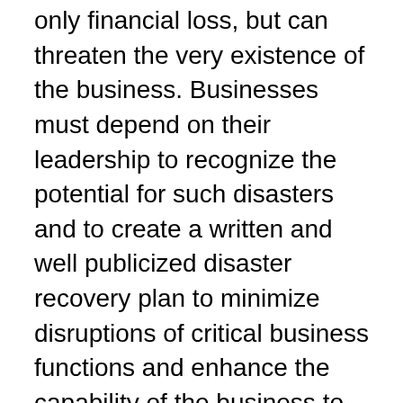only financial loss, but can threaten the very existence of the business. Businesses must depend on their leadership to recognize the potential for such disasters and to create a written and well publicized disaster recovery plan to minimize disruptions of critical business functions and enhance the capability of the business to recover operations quickly and successfully.
The disaster recovery plan must be a comprehensive statement of consistent and rehearsed actions to be taken before, during and after a disaster. Disaster recovery planning involves much more than simple off-site data storage or frequent server backups. The written, comprehensive disaster recovery plan must address all the critical operations and functions of the business. The plan should also include documented and tested procedures